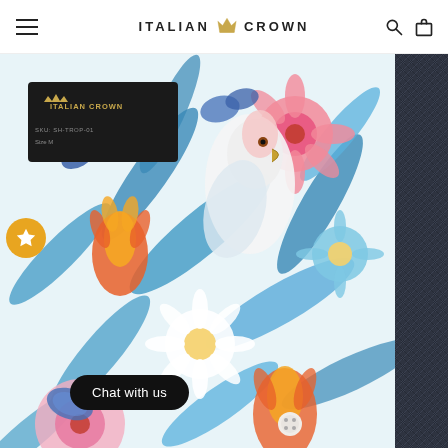ITALIAN CROWN
[Figure (photo): Close-up photo of a floral and tropical print shirt with birds, butterflies, and exotic flowers in pink, blue, orange, and white. An Italian Crown branded label is visible at the top left of the shirt collar area.]
[Figure (photo): Right side panel showing dark navy herringbone textured fabric.]
Chat with us